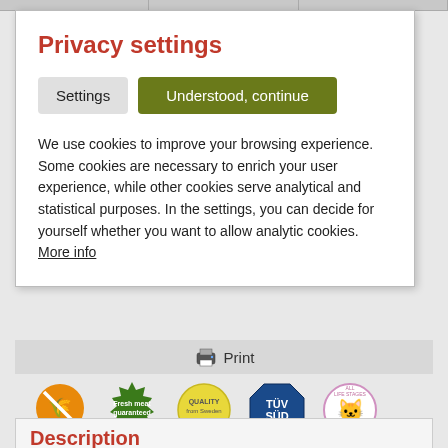Privacy settings
Settings
Understood, continue
We use cookies to improve your browsing experience. Some cookies are necessary to enrich your user experience, while other cookies serve analytical and statistical purposes. In the settings, you can decide for yourself whether you want to allow analytic cookies. More info
[Figure (logo): Print button with printer icon and text Print]
[Figure (infographic): Five certification/quality badges: Free of Gluten (orange wheat icon), Fresh meat guaranteed (green seal), Quality from Sweden (yellow circle), TÜV SÜD ISO 9001 (blue octagon), All Life Stages cat logo (pink circle)]
Description